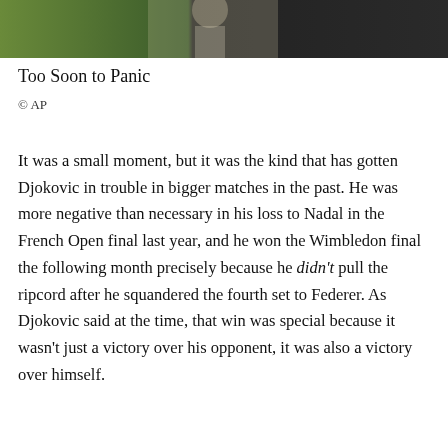[Figure (photo): Tennis player in white on a green court background, partial figure visible from mid-torso up]
Too Soon to Panic
© AP
It was a small moment, but it was the kind that has gotten Djokovic in trouble in bigger matches in the past. He was more negative than necessary in his loss to Nadal in the French Open final last year, and he won the Wimbledon final the following month precisely because he didn't pull the ripcord after he squandered the fourth set to Federer. As Djokovic said at the time, that win was special because it wasn't just a victory over his opponent, it was also a victory over himself.